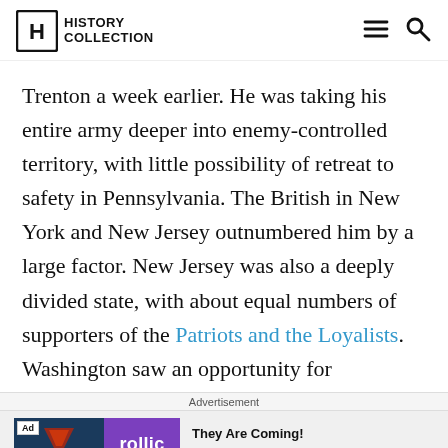HISTORY COLLECTION
Trenton a week earlier. He was taking his entire army deeper into enemy-controlled territory, with little possibility of retreat to safety in Pennsylvania. The British in New York and New Jersey outnumbered him by a large factor. New Jersey was also a deeply divided state, with about equal numbers of supporters of the Patriots and the Loyalists. Washington saw an opportunity for
Advertisement
[Figure (other): Advertisement banner: Ad badge, game screenshot, Rollic purple logo, text 'They Are Coming!' and Download link]